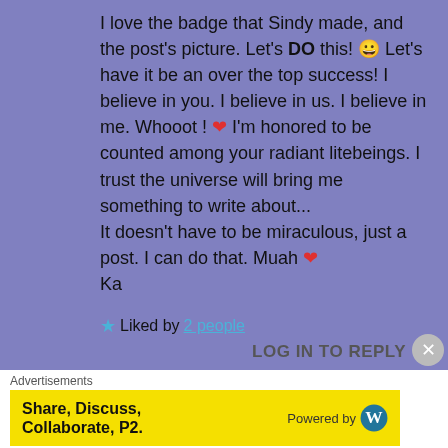I love the badge that Sindy made, and the post's picture. Let's DO this! 😀 Let's have it be an over the top success! I believe in you. I believe in us. I believe in me. Whooot ! ❤ I'm honored to be counted among your radiant litebeings. I trust the universe will bring me something to write about... It doesn't have to be miraculous, just a post. I can do that. Muah ❤ Ka
★ Liked by 2 people
LOG IN TO REPLY
Advertisements
[Figure (other): Yellow advertisement banner reading 'Share, Discuss, Collaborate, P2.' with WordPress logo and 'Powered by' text on the right]